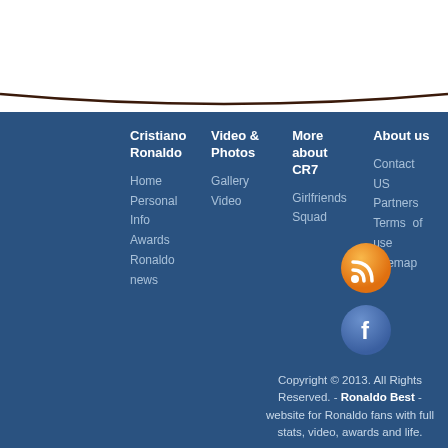[Figure (illustration): White top area with curved dark bottom border line]
Cristiano Ronaldo
Home
Personal Info
Awards
Ronaldo news
Video & Photos
Gallery
Video
More about CR7
Girlfriends
Squad
About us
Contact US
Partners
Terms of use
Sitemap
[Figure (logo): RSS feed orange circle icon]
[Figure (logo): Facebook blue circle icon]
Copyright © 2013. All Rights Reserved. - Ronaldo Best - website for Ronaldo fans with full stats, video, awards and life.